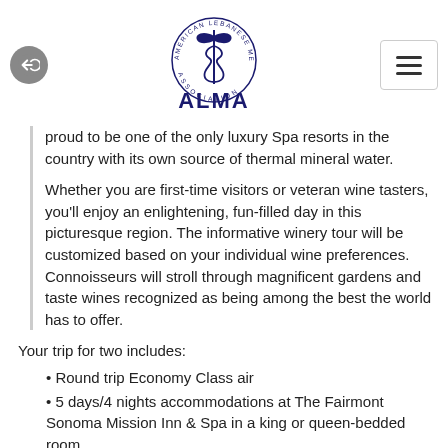ALMA - American Lebanese Medical Association
proud to be one of the only luxury Spa resorts in the country with its own source of thermal mineral water.
Whether you are first-time visitors or veteran wine tasters, you'll enjoy an enlightening, fun-filled day in this picturesque region. The informative winery tour will be customized based on your individual wine preferences. Connoisseurs will stroll through magnificent gardens and taste wines recognized as being among the best the world has to offer.
Your trip for two includes:
Round trip Economy Class air
5 days/4 nights accommodations at The Fairmont Sonoma Mission Inn & Spa in a king or queen-bedded room
Daily complimentary breakfast
All room-related taxes